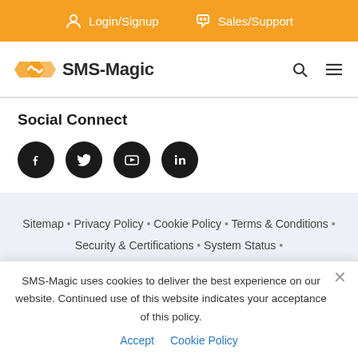Login/Signup  Sales/Support
[Figure (logo): SMS-Magic logo with orange double-arrow hexagon shapes and text SMS-Magic]
Social Connect
[Figure (illustration): Four social media icons: Facebook, Twitter, YouTube, LinkedIn — black circles with white icons]
Sitemap • Privacy Policy • Cookie Policy • Terms & Conditions • Security & Certifications • System Status • Trust Site
SMS-Magic uses cookies to deliver the best experience on our website. Continued use of this website indicates your acceptance of this policy.
Accept  Cookie Policy